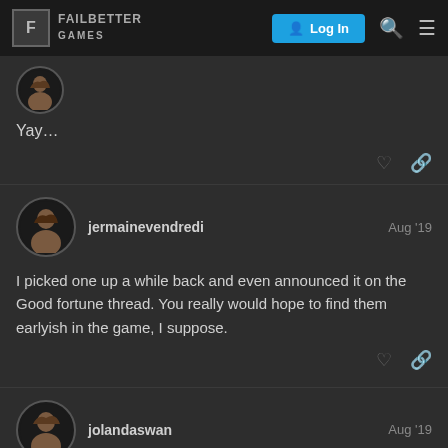Failbetter Games | Log In
Yay...
jermainevendredi Aug '19
I picked one up a while back and even announced it on the Good fortune thread. You really would hope to find them earlyish in the game, I suppose.
jolandaswan Aug '19
Oh, I went it for purchase purposes. Since
6 / 18